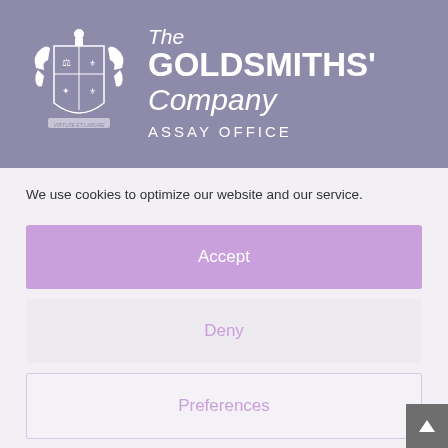[Figure (logo): The Goldsmiths' Company Assay Office logo — coat of arms crest on left, company name on right, on a muted purple/grey banner background]
We use cookies to optimize our website and our service.
Accept
Deny
Preferences
Cookies